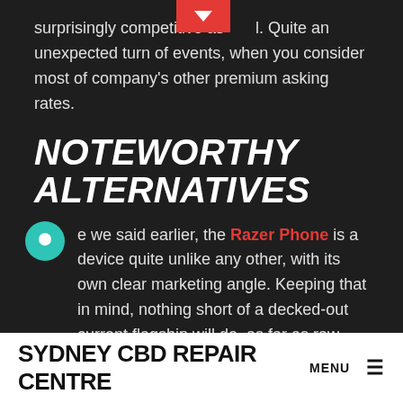surprisingly competitive as well. Quite an unexpected turn of events, when you consider most of company's other premium asking rates.
NOTEWORTHY ALTERNATIVES
As we said earlier, the Razer Phone is a device quite unlike any other, with its own clear marketing angle. Keeping that in mind, nothing short of a decked-out current flagship will do, as far as raw gaming performance goes. An EUR 750 budget or so actually gives us a lot of wiggle room on a pure pricing basis.
SYDNEY CBD REPAIR CENTRE MENU ≡